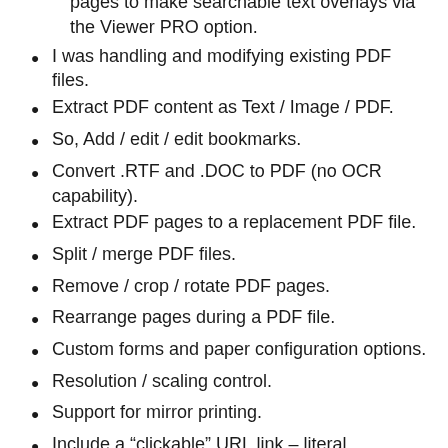pages to make searchable text overlays via the Viewer PRO option.
I was handling and modifying existing PDF files.
Extract PDF content as Text / Image / PDF.
So, Add / edit / edit bookmarks.
Convert .RTF and .DOC to PDF (no OCR capability).
Extract PDF pages to a replacement PDF file.
Split / merge PDF files.
Remove / crop / rotate PDF pages.
Rearrange pages during a PDF file.
Custom forms and paper configuration options.
Resolution / scaling control.
Support for mirror printing.
Include a “clickable” URL link – literal.